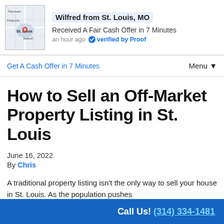[Figure (screenshot): Notification popup showing Wilfred from St. Louis, MO with a map thumbnail, received a fair cash offer in 7 minutes, verified by Proof]
Get A Cash Offer in 7 Minutes   Menu ▼
How to Sell an Off-Market Property Listing in St. Louis
June 16, 2022
By Chris
A traditional property listing isn't the only way to sell your house in St. Louis. As the population pushes...
Call Us! (314) 334-1481